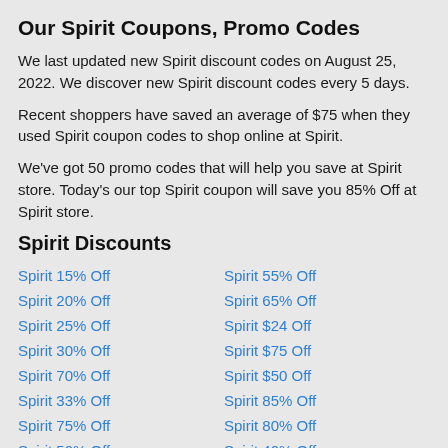Our Spirit Coupons, Promo Codes
We last updated new Spirit discount codes on August 25, 2022. We discover new Spirit discount codes every 5 days.
Recent shoppers have saved an average of $75 when they used Spirit coupon codes to shop online at Spirit.
We've got 50 promo codes that will help you save at Spirit store. Today's our top Spirit coupon will save you 85% Off at Spirit store.
Spirit Discounts
Spirit 15% Off
Spirit 55% Off
Spirit 20% Off
Spirit 65% Off
Spirit 25% Off
Spirit $24 Off
Spirit 30% Off
Spirit $75 Off
Spirit 70% Off
Spirit $50 Off
Spirit 33% Off
Spirit 85% Off
Spirit 75% Off
Spirit 80% Off
Spirit 50% Off
Spirit 40% Off